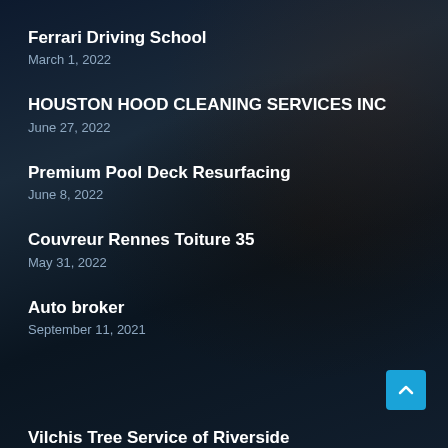Ferrari Driving School
March 1, 2022
HOUSTON HOOD CLEANING SERVICES INC
June 27, 2022
Premium Pool Deck Resurfacing
June 8, 2022
Couvreur Rennes Toiture 35
May 31, 2022
Auto broker
September 11, 2021
Vilchis Tree Service of Riverside